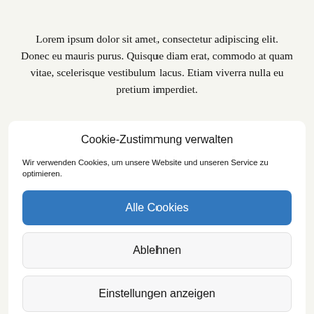Lorem ipsum dolor sit amet, consectetur adipiscing elit. Donec eu mauris purus. Quisque diam erat, commodo at quam vitae, scelerisque vestibulum lacus. Etiam viverra nulla eu pretium imperdiet.
Cookie-Zustimmung verwalten
Wir verwenden Cookies, um unsere Website und unseren Service zu optimieren.
Alle Cookies
Ablehnen
Einstellungen anzeigen